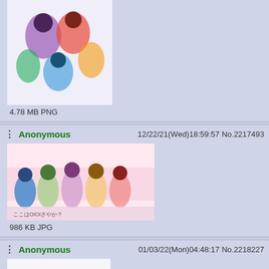[Figure (screenshot): Partial top post showing an anime image thumbnail (colorful characters) with file info '4.78 MB PNG']
4.78 MB PNG
Anonymous   12/22/21(Wed)18:59:57 No.2217493
[Figure (screenshot): Anime group of girls in colorful dresses, Japanese text banner, file info '986 KB JPG']
986 KB JPG
Anonymous   01/03/22(Mon)04:48:17 No.2218227
[Figure (screenshot): Anime girl with dark purple hair, white top, dark skirt, flower decorations, file info '213 KB JPG']
213 KB JPG
Anonymous   01/24/22(Mon)04:51:42 No.2219691